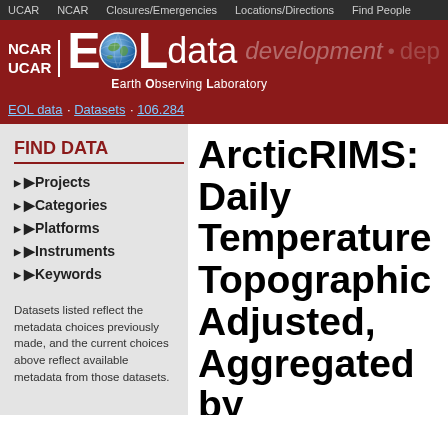UCAR  NCAR  Closures/Emergencies  Locations/Directions  Find People
[Figure (logo): NCAR UCAR | EOL data Earth Observing Laboratory logo with globe icon, development • dep text faded in background]
EOL data · Datasets · 106.284
FIND DATA
Projects
Categories
Platforms
Instruments
Keywords
Datasets listed reflect the metadata choices previously made, and the current choices above reflect available metadata from those datasets.
ArcticRIMS: Daily Temperature Topographic Adjusted, Aggregated by Administrativ